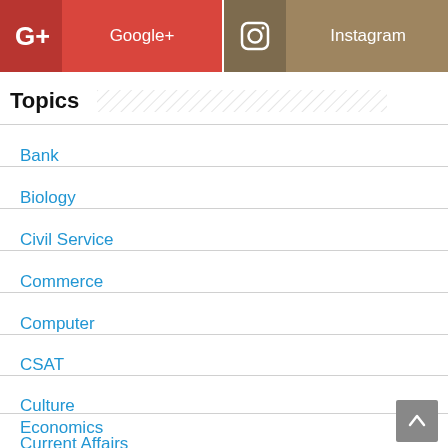[Figure (screenshot): Google+ social media button (red background with G+ icon and label)]
[Figure (screenshot): Instagram social media button (tan/brown background with camera icon and label)]
Topics
Bank
Biology
Civil Service
Commerce
Computer
CSAT
Culture
Current Affairs
Economics